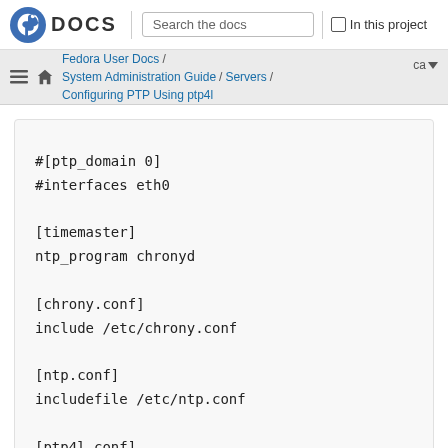Fedora DOCS | Search the docs | In this project
Fedora User Docs / System Administration Guide / Servers / Configuring PTP Using ptp4l | ca
#[ptp_domain 0]
#interfaces eth0

[timemaster]
ntp_program chronyd

[chrony.conf]
include /etc/chrony.conf

[ntp.conf]
includefile /etc/ntp.conf

[ptp4l.conf]